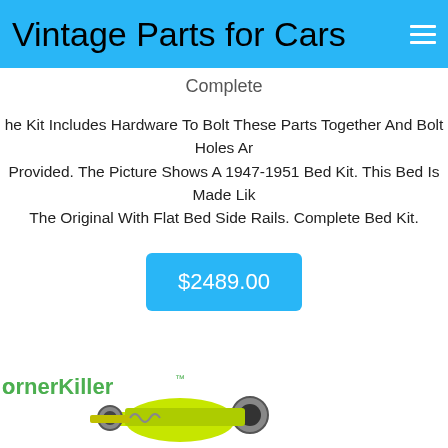Vintage Parts for Cars
Complete
The Kit Includes Hardware To Bolt These Parts Together And Bolt Holes Are Provided. The Picture Shows A 1947-1951 Bed Kit. This Bed Is Made Like The Original With Flat Bed Side Rails. Complete Bed Kit.
$2489.00
[Figure (photo): CornerKiller product image showing a yellow/green car suspension component]